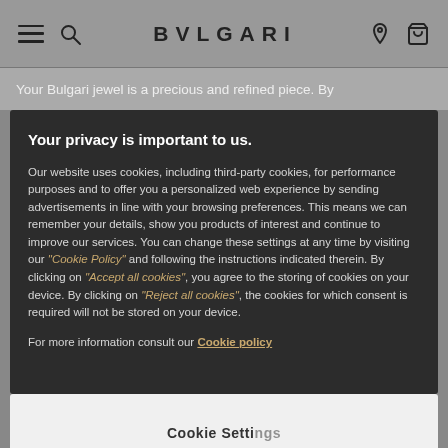BVLGARI
Your Bulgari jewel is a precious and refined piece. By
Your privacy is important to us.
Our website uses cookies, including third-party cookies, for performance purposes and to offer you a personalized web experience by sending advertisements in line with your browsing preferences. This means we can remember your details, show you products of interest and continue to improve our services. You can change these settings at any time by visiting our “Cookie Policy” and following the instructions indicated therein. By clicking on “Accept all cookies”, you agree to the storing of cookies on your device. By clicking on “Reject all cookies”, the cookies for which consent is required will not be stored on your device.
For more information consult our Cookie policy